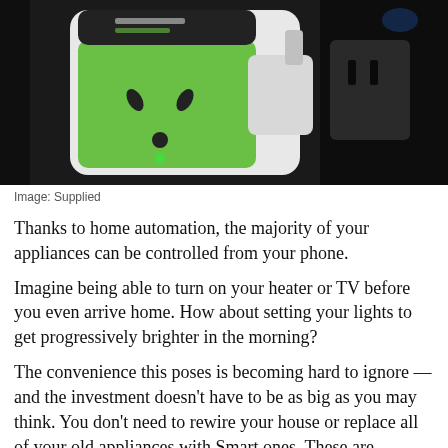[Figure (photo): A green and white smart power plug adapter labeled 'ALWAYS ON / POWER SAVER' plugged into an electrical socket, photographed against a dark background.]
Image: Supplied
Thanks to home automation, the majority of your appliances can be controlled from your phone.
Imagine being able to turn on your heater or TV before you even arrive home. How about setting your lights to get progressively brighter in the morning?
The convenience this poses is becoming hard to ignore — and the investment doesn't have to be as big as you may think. You don't need to rewire your house or replace all of your old appliances with Smart ones. These are certainly